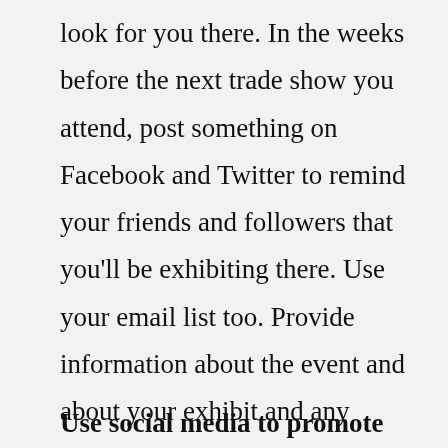look for you there. In the weeks before the next trade show you attend, post something on Facebook and Twitter to remind your friends and followers that you'll be exhibiting there. Use your email list too. Provide information about the event and about your exhibit and any deals you plan to offer.
Use social media to promote